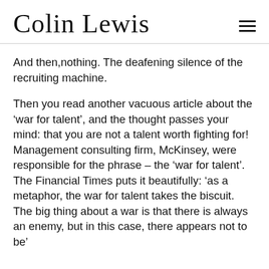Colin Lewis
And then,nothing. The deafening silence of the recruiting machine.
Then you read another vacuous article about the ‘war for talent’, and the thought passes your mind: that you are not a talent worth fighting for! Management consulting firm, McKinsey, were responsible for the phrase – the ‘war for talent’. The Financial Times puts it beautifully: ‘as a metaphor, the war for talent takes the biscuit. The big thing about a war is that there is always an enemy, but in this case, there appears not to be’.